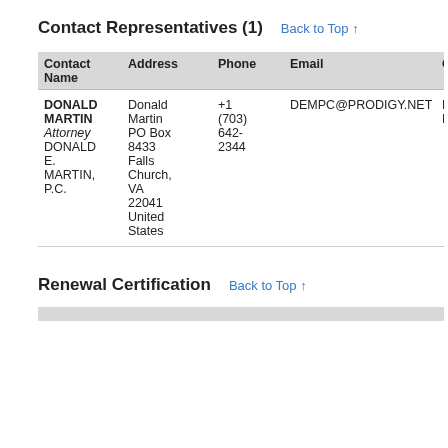Contact Representatives (1)
| Contact Name | Address | Phone | Email | Contact Type |
| --- | --- | --- | --- | --- |
| DONALD MARTIN
Attorney DONALD E. MARTIN, P.C. | Donald Martin PO Box 8433 Falls Church, VA 22041 United States | +1 (703) 642-2344 | DEMPC@PRODIGY.NET | Legal Representative |
Renewal Certification